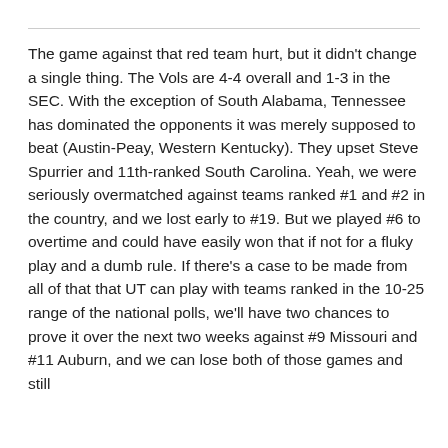The game against that red team hurt, but it didn't change a single thing. The Vols are 4-4 overall and 1-3 in the SEC. With the exception of South Alabama, Tennessee has dominated the opponents it was merely supposed to beat (Austin-Peay, Western Kentucky). They upset Steve Spurrier and 11th-ranked South Carolina. Yeah, we were seriously overmatched against teams ranked #1 and #2 in the country, and we lost early to #19. But we played #6 to overtime and could have easily won that if not for a fluky play and a dumb rule. If there's a case to be made from all of that that UT can play with teams ranked in the 10-25 range of the national polls, we'll have two chances to prove it over the next two weeks against #9 Missouri and #11 Auburn, and we can lose both of those games and still